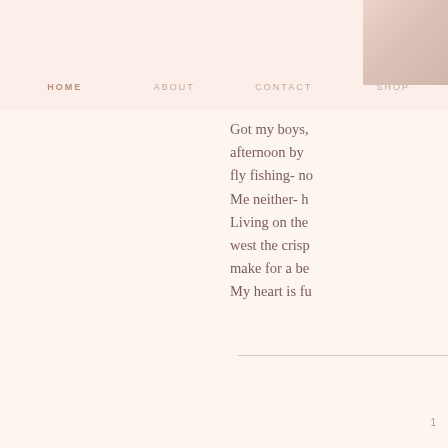HOME   ABOUT   CONTACT   SHOP
[Figure (photo): Partial photo of a person in the upper right corner, soft warm tones]
Got my boys, afternoon by fly fishing- no Me neither- h Living on the west the crisp make for a be My heart is fu
1